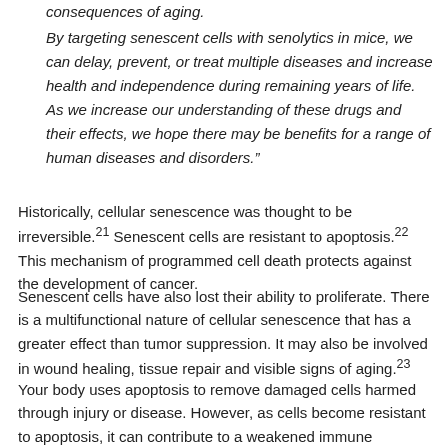consequences of aging.
By targeting senescent cells with senolytics in mice, we can delay, prevent, or treat multiple diseases and increase health and independence during remaining years of life. As we increase our understanding of these drugs and their effects, we hope there may be benefits for a range of human diseases and disorders.”
Historically, cellular senescence was thought to be irreversible.²¹ Senescent cells are resistant to apoptosis.²² This mechanism of programmed cell death protects against the development of cancer.
Senescent cells have also lost their ability to proliferate. There is a multifunctional nature of cellular senescence that has a greater effect than tumor suppression. It may also be involved in wound healing, tissue repair and visible signs of aging.²³
Your body uses apoptosis to remove damaged cells harmed through injury or disease. However, as cells become resistant to apoptosis, it can contribute to a weakened immune system.²⁴ Scientists at UC San Francisco²⁵ have been investigating alternatives to senolytic